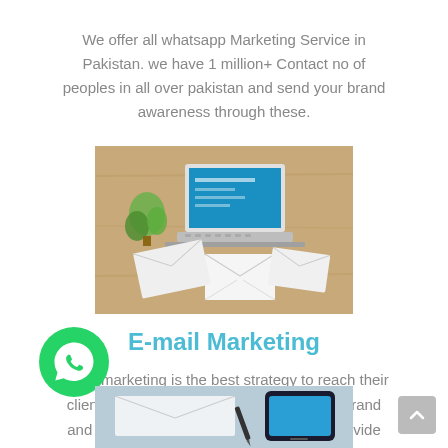We offer all whatsapp Marketing Service in Pakistan. we have 1 million+ Contact no of peoples in all over pakistan and send your brand awareness through these.
[Figure (photo): Photo of a laptop with envelopes on a wooden desk with a plant, representing email marketing.]
E-mail Marketing
Email marketing is the best strategy to reach their client and best plate form to present your brand and market your products. Pak Printers provide best Email marketing Services
[Figure (logo): WhatsApp green circular icon with phone handset.]
[Figure (photo): Partial photo at bottom showing email/phone marketing materials.]